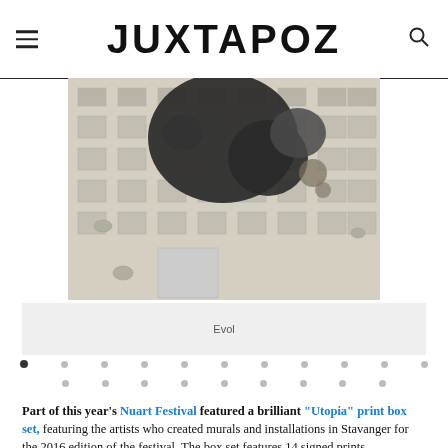JUXTAPOZ
[Figure (photo): Street art mural showing a large dark ink-blot or bird-like silhouette against a beige apartment building facade with many windows and satellite dishes]
Evol
Part of this year's Nuart Festival featured a brilliant "Utopia" print box set, featuring the artists who created murals and installations in Stavanger for the 2016 edition of the festival. The box set features 14 signed prints.
From the good people at Nuart: An exclusive series of signed limited edition prints to support the 2016 Festival. The box set consists of 6 gicleé and 8 hand-pulled screen